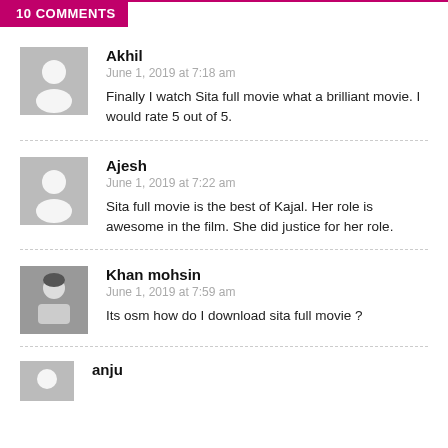10 COMMENTS
Akhil
June 1, 2019 at 7:18 am
Finally I watch Sita full movie what a brilliant movie. I would rate 5 out of 5.
Ajesh
June 1, 2019 at 7:22 am
Sita full movie is the best of Kajal. Her role is awesome in the film. She did justice for her role.
Khan mohsin
June 1, 2019 at 7:59 am
Its osm how do I download sita full movie ?
anju